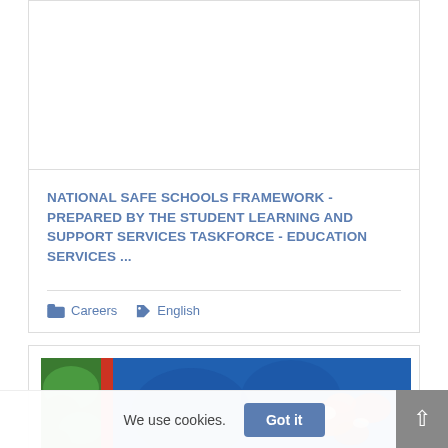[Figure (other): Top card image area (blank/white)]
NATIONAL SAFE SCHOOLS FRAMEWORK - PREPARED BY THE STUDENT LEARNING AND SUPPORT SERVICES TASKFORCE - EDUCATION SERVICES ...
Careers  English
[Figure (photo): Partial photo showing green tree on left with red stripe and blue background with floral/butterfly motif on right]
We use cookies.  Got it